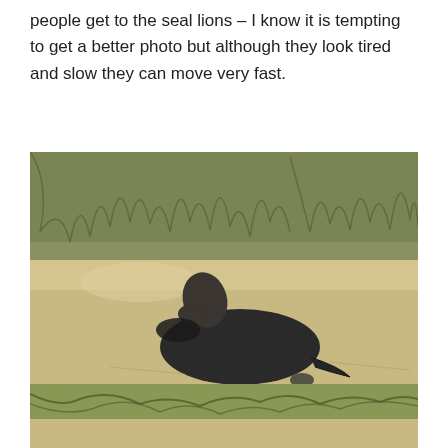people get to the seal lions – I know it is tempting to get a better photo but although they look tired and slow they can move very fast.
[Figure (photo): A sea lion resting on a sandy beach with dried grass and dunes in the background. The sea lion has its head raised, looking toward the camera. Another dark shape is visible in the background on the sand.]
A little wave……. then back to sleep..
[Figure (photo): Partial view of a beach scene with dry grass and dunes in the background, cropped at the bottom of the page.]